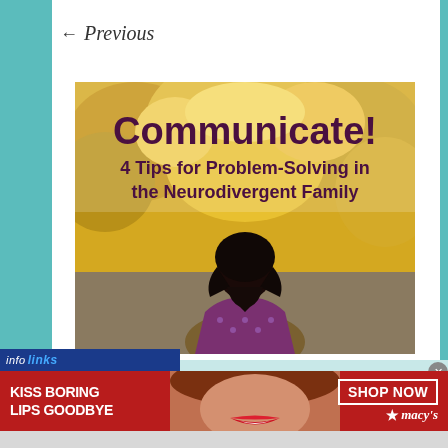← Previous
[Figure (illustration): Article thumbnail image showing a woman from behind with dark curly hair wearing a purple patterned sweater, set against a blurred autumn tree background with gold/yellow foliage. Overlaid text reads: 'Communicate! 4 Tips for Problem-Solving in the Neurodivergent Family']
[Figure (infographic): Advertisement banner: 'KISS BORING LIPS GOODBYE' with Macy's branding, SHOP NOW call to action, featuring a woman's face with red lips on a red background. Infolinks label at top left.]